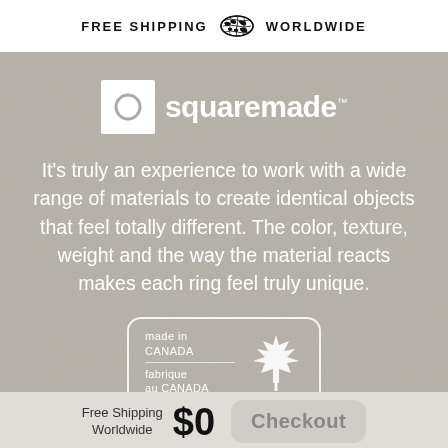FREE SHIPPING WORLDWIDE
[Figure (logo): Squaremade brand logo with square icon containing a circle, on a grey textured background]
It’s truly an experience to work with a wide range of materials to create identical objects that feel totally different. The color, texture, weight and the way the material reacts makes each ring feel truly unique.
[Figure (illustration): Made in Canada / fabrique au CANADA badge with maple leaf icon]
Free Shipping Worldwide $0  Checkout
*Prices are USD | Pay at checkout